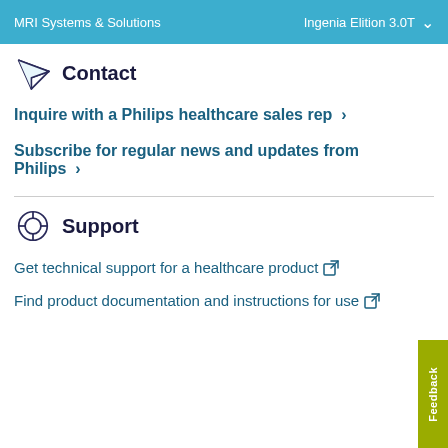MRI Systems & Solutions   Ingenia Elition 3.0T
Contact
Inquire with a Philips healthcare sales rep ›
Subscribe for regular news and updates from Philips ›
Support
Get technical support for a healthcare product
Find product documentation and instructions for use